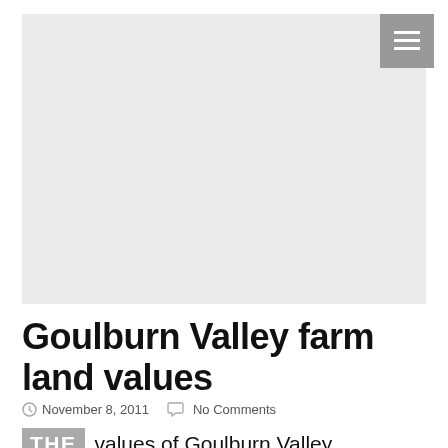[Figure (photo): Large light grey placeholder image area for article hero image]
Goulburn Valley farm land values
November 8, 2011   No Comments
THE values of Goulburn Valley